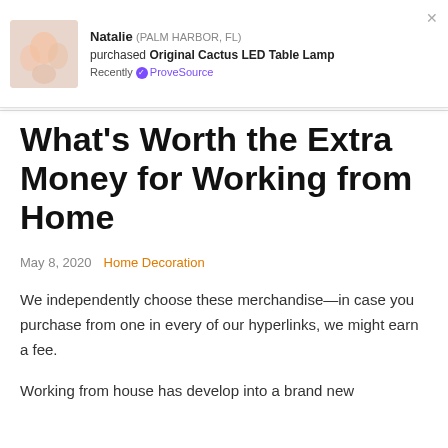[Figure (screenshot): E-commerce notification popup showing Natalie from Palm Harbor, FL purchased Original Cactus LED Table Lamp, with ProveSource badge. Overlaid with cookie privacy accept/decline buttons.]
What's Worth the Extra Money for Working from Home
May 8, 2020   Home Decoration
We independently choose these merchandise—in case you purchase from one in every of our hyperlinks, we might earn a fee.
Working from house has develop into a brand new